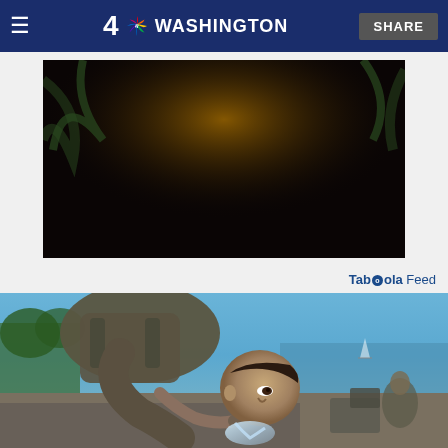≡  4 NBC WASHINGTON  SHARE
[Figure (advertisement): Jurassic World Dominion streaming advertisement on Peacock. Dark background with golden Jurassic World Dominion title text, 'STREAMING ONLY ON' text, Peacock logo with colorful dots, and 'STREAM NOW' yellow button. Terms apply text at bottom.]
Taboola Feed
[Figure (photo): A soldier in camouflage military uniform drinking water from a hose outdoors near a waterfront on a sunny day. The soldier is leaning forward with water splashing. Military equipment visible in background on right. Blue sky and water in background.]